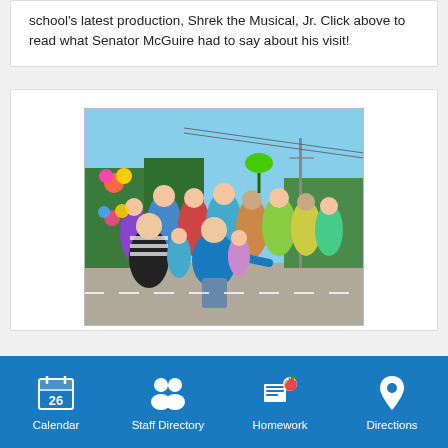school's latest production, Shrek the Musical, Jr. Click above to read what Senator McGuire had to say about his visit!
[Figure (photo): Group photo of students and adults in colorful costumes outdoors on a sunny day, likely after a school parade or theatrical performance.]
Calendar  Staff Directory  Homework  Directions